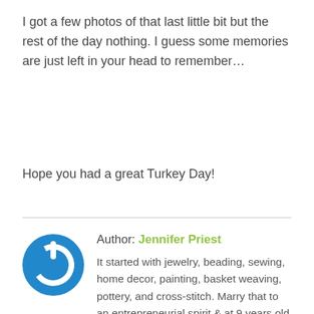I got a few photos of that last little bit but the rest of the day nothing. I guess some memories are just left in your head to remember…
Hope you had a great Turkey Day!
Author: Jennifer Priest
It started with jewelry, beading, sewing, home decor, painting, basket weaving, pottery, and cross-stitch. Marry that to an entrepreneurial spirit & at 9 years old a girl is selling her wares at craft fairs as far as her parents and grandparents would drive her. These days, Jennifer enjoys crafts of all genres from sewing…